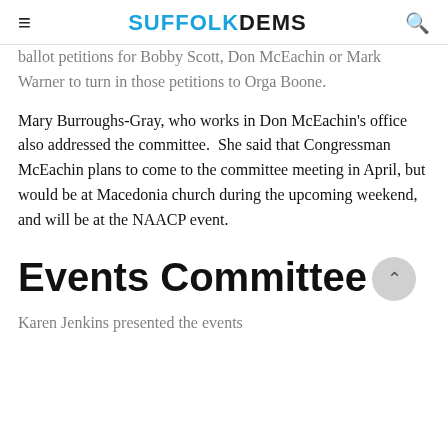SUFFOLK DEMS
ballot petitions for Bobby Scott, Don McEachin or Mark Warner to turn in those petitions to Orga Boone.
Mary Burroughs-Gray, who works in Don McEachin's office also addressed the committee.  She said that Congressman McEachin plans to come to the committee meeting in April, but would be at Macedonia church during the upcoming weekend, and will be at the NAACP event.
Events Committee
Karen Jenkins presented the events